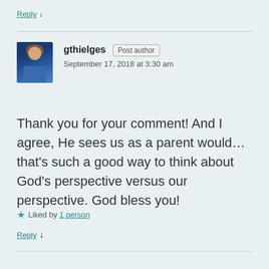Reply ↓
gthielges Post author
September 17, 2018 at 3:30 am
Thank you for your comment! And I agree, He sees us as a parent would…that's such a good way to think about God's perspective versus our perspective. God bless you!
★ Liked by 1 person
Reply ↓